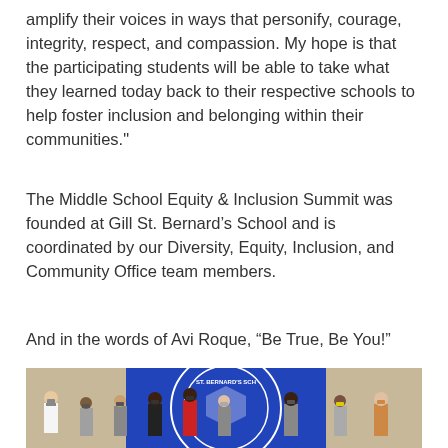amplify their voices in ways that personify, courage, integrity, respect, and compassion. My hope is that the participating students will be able to take what they learned today back to their respective schools to help foster inclusion and belonging within their communities."
The Middle School Equity & Inclusion Summit was founded at Gill St. Bernard's School and is coordinated by our Diversity, Equity, Inclusion, and Community Office team members.
And in the words of Avi Roque, “Be True, Be You!”
[Figure (photo): Group photo of approximately 9 people wearing face masks standing in front of a blue Gill St. Bernard's School banner/flag on a beige wall.]